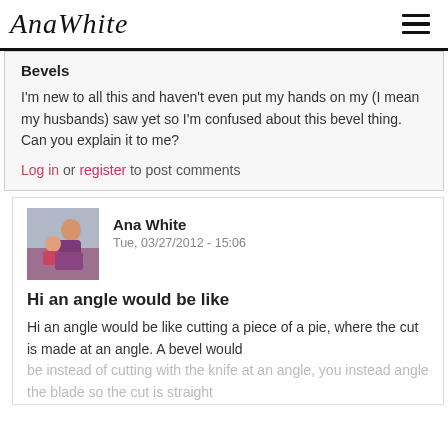AnaWhite
Bevels
I'm new to all this and haven't even put my hands on my (I mean my husbands) saw yet so I'm confused about this bevel thing. Can you explain it to me?
Log in or register to post comments
Ana White
Tue, 03/27/2012 - 15:06
Hi an angle would be like
Hi an angle would be like cutting a piece of a pie, where the cut is made at an angle. A bevel would be instead of cutting with the knife at an angle, you instead angle the blade so the cut is straight